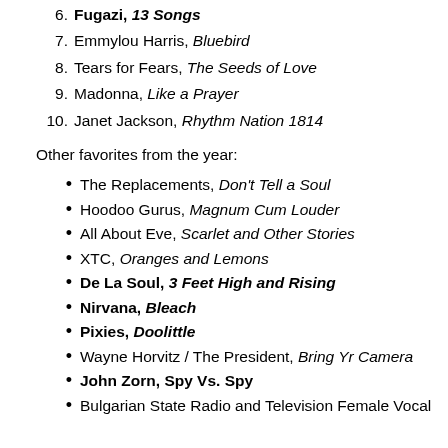6. Fugazi, 13 Songs
7. Emmylou Harris, Bluebird
8. Tears for Fears, The Seeds of Love
9. Madonna, Like a Prayer
10. Janet Jackson, Rhythm Nation 1814
Other favorites from the year:
The Replacements, Don't Tell a Soul
Hoodoo Gurus, Magnum Cum Louder
All About Eve, Scarlet and Other Stories
XTC, Oranges and Lemons
De La Soul, 3 Feet High and Rising
Nirvana, Bleach
Pixies, Doolittle
Wayne Horvitz / The President, Bring Yr Camera
John Zorn, Spy Vs. Spy
Bulgarian State Radio and Television Female Vocal